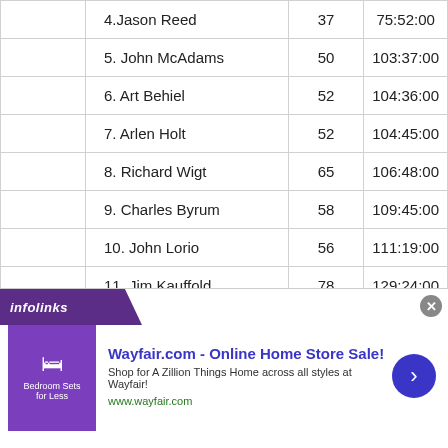|  | Name | Age | Time |
| --- | --- | --- | --- |
|  | 4.Jason Reed | 37 | 75:52:00 |
|  | 5. John McAdams | 50 | 103:37:00 |
|  | 6. Art Behiel | 52 | 104:36:00 |
|  | 7. Arlen Holt | 52 | 104:45:00 |
|  | 8. Richard Wigt | 65 | 106:48:00 |
|  | 9. Charles Byrum | 58 | 109:45:00 |
|  | 10. John Lorio | 56 | 111:19:00 |
|  | 11. Jim Kauffold | 78 | 129:24:00 |
|  |  |  |  |